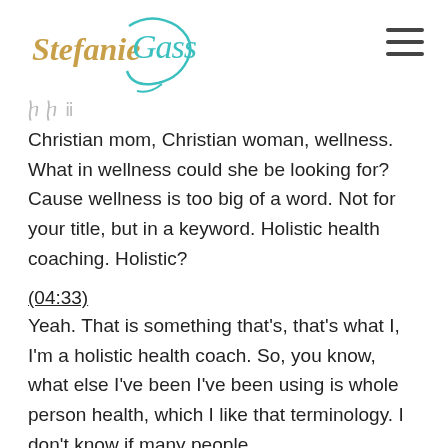Stefanie Gass
Christian mom, Christian woman, wellness. What in wellness could she be looking for? Cause wellness is too big of a word. Not for your title, but in a keyword. Holistic health coaching. Holistic?
(04:33)
Yeah. That is something that's, that's what I, I'm a holistic health coach. So, you know, what else I've been I've been using is whole person health, which I like that terminology. I don't know if many people